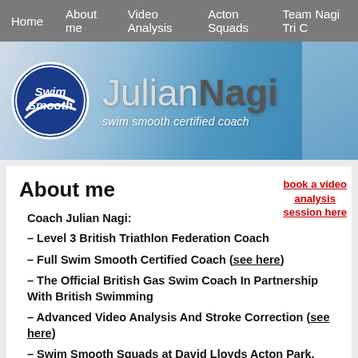Home | About me | Video Analysis | Acton Squads | Team Nagi Tri C
[Figure (screenshot): Julian Nagi website banner with Swim Smooth logo and swimmer image. Text: Julian Nagi - swim smooth certified coach]
About me
book a video analysis session here
Coach Julian Nagi:
– Level 3 British Triathlon Federation Coach
– Full Swim Smooth Certified Coach (see here)
– The Official British Gas Swim Coach In Partnership With British Swimming
– Advanced Video Analysis And Stroke Correction (see here)
– Swim Smooth Squads at David Lloyds Acton Park, West London (see here)